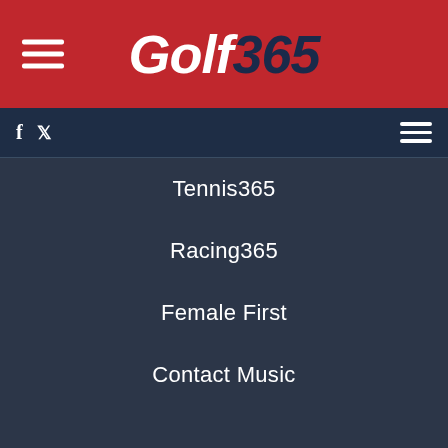Golf365
Tennis365
Racing365
Female First
Contact Music
COMMERCIAL AND SALES
Planet Sport